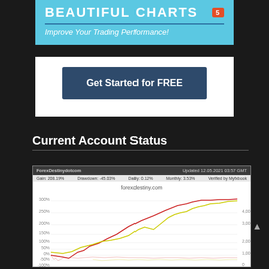BEAUTIFUL CHARTS
Improve Your Trading Performance!
Get Started for FREE
Current Account Status
[Figure (continuous-plot): Myfxbook performance chart for ForexDestinydotcom account showing gain % (red line, left axis 0-300%) and balance (yellow line, right axis 0-4000) over time. Header shows: Updated 12.05.2021 03:57 GMT, Gain: 208.19%, Drawdown: -45.03%, Daily: 0.12%, Monthly: 3.53%, Verified by Myfxbook. Chart title: forexdestiny.com]